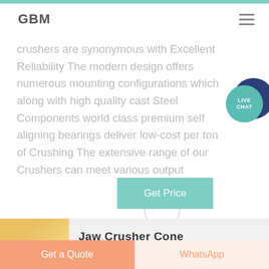GBM
crushers are synonymous with Excellent Reliability The modern design offers numerous mounting configurations which along with high quality cast Steel Components world class premium self aligning bearings deliver low-cost per ton of Crushing The extensive range of our Crushers can meet various output
Get Price
Jaw Crusher Cone
Get a Quote
WhatsApp